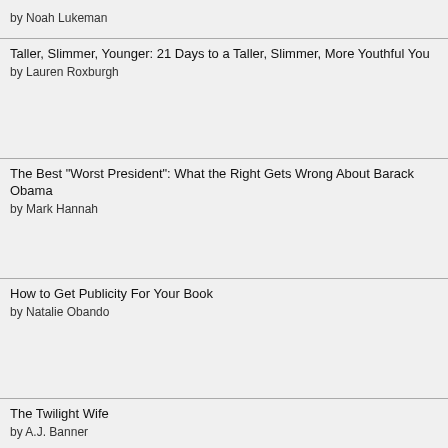by Noah Lukeman
Taller, Slimmer, Younger: 21 Days to a Taller, Slimmer, More Youthful You
by Lauren Roxburgh
The Best "Worst President": What the Right Gets Wrong About Barack Obama
by Mark Hannah
How to Get Publicity For Your Book
by Natalie Obando
The Twilight Wife
by A.J. Banner
Tell Me No Lies
by A.V. Geiger
~ I need a release date for this! With the ending of book 1, I need this NOW!